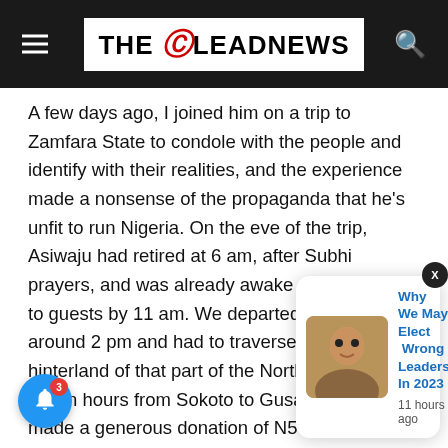THE LEADNEWS
A few days ago, I joined him on a trip to Zamfara State to condole with the people and identify with their realities, and the experience made a nonsense of the propaganda that he's unfit to run Nigeria. On the eve of the trip, Asiwaju had retired at 6 am, after Subhi prayers, and was already awake and attending to guests by 11 am. We departed for Sokoto around 2 pm and had to traverse the menacing hinterland of that part of the North-West for seven hours from Sokoto to Gusau—where he made a generous donation of N50 million as he had in other places struck by tragedies—and then back to Sokoto.
On returning to A… is of meet… iosity, how many of us here can match or endure such a demanding schedule? Asiwaju's alacrity, therefore, has
[Figure (screenshot): Notification popup showing article: 'Why We May Elect Wrong Leaders In 2023' with thumbnail photo of a man, posted 11 hours ago. Blue notification bell with badge showing 3.]